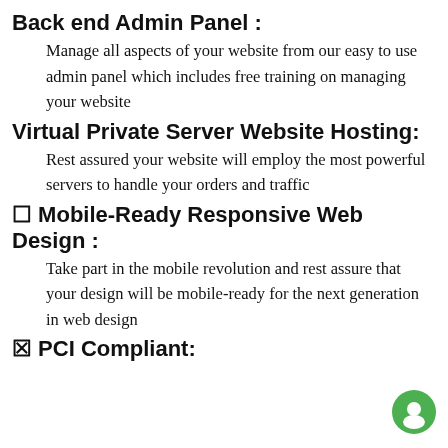Back end Admin Panel :
Manage all aspects of your website from our easy to use admin panel which includes free training on managing your website
Virtual Private Server Website Hosting:
Rest assured your website will employ the most powerful servers to handle your orders and traffic
⊡ Mobile-Ready Responsive Web Design :
Take part in the mobile revolution and rest assure that your design will be mobile-ready for the next generation in web design
⊟ PCI Compliant: